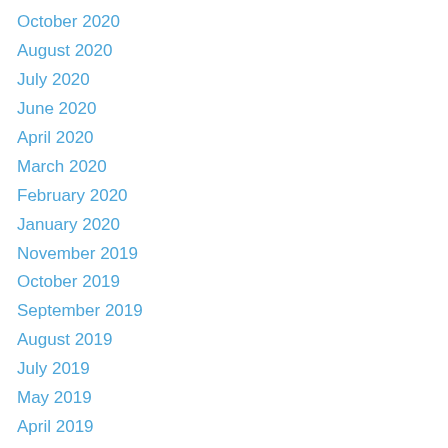October 2020
August 2020
July 2020
June 2020
April 2020
March 2020
February 2020
January 2020
November 2019
October 2019
September 2019
August 2019
July 2019
May 2019
April 2019
March 2019
February 2019
January 2019
December 2018
November 2018